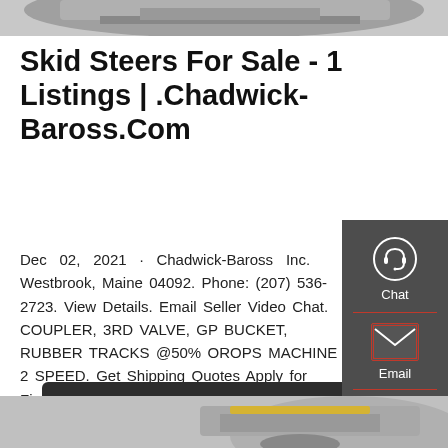[Figure (photo): Partial top view of a skid steer machine, cropped at top of page]
Skid Steers For Sale - 1 Listings | .Chadwick-Baross.Com
Dec 02, 2021 · Chadwick-Baross Inc. Westbrook, Maine 04092. Phone: (207) 536-2723. View Details. Email Seller Video Chat. COUPLER, 3RD VALVE, GP BUCKET, RUBBER TRACKS @50% OROPS MACHINE 2 SPEED. Get Shipping Quotes Apply for Financ...
[Figure (screenshot): Sidebar with Chat, Email, and Contact icons on dark grey background]
[Figure (photo): Partial bottom view of a skid steer machine, cropped at bottom of page]